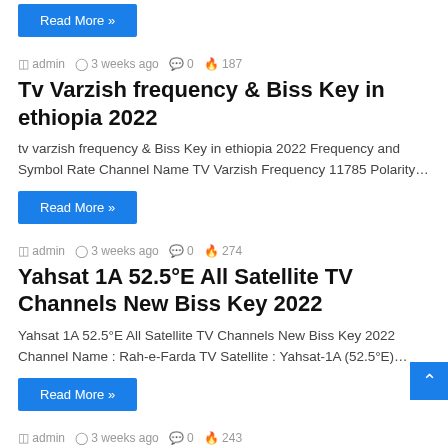Read More »
admin  3 weeks ago  0  187
Tv Varzish frequency & Biss Key in ethiopia 2022
tv varzish frequency & Biss Key in ethiopia 2022 Frequency and Symbol Rate Channel Name TV Varzish Frequency 11785 Polarity…
Read More »
admin  3 weeks ago  0  274
Yahsat 1A 52.5°E All Satellite TV Channels New Biss Key 2022
Yahsat 1A 52.5°E All Satellite TV Channels New Biss Key 2022 Channel Name : Rah-e-Farda TV Satellite : Yahsat-1A (52.5°E)…
Read More »
admin  3 weeks ago  0  243
TV Varzish Biss Key & New Frequency On